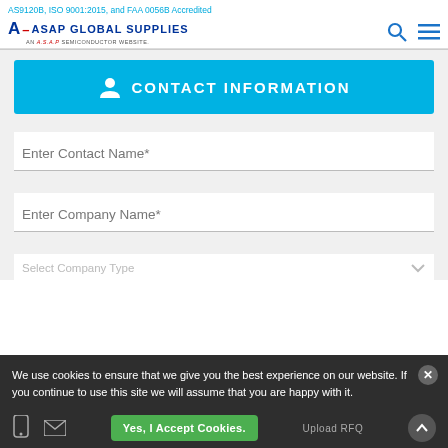AS9120B, ISO 9001:2015, and FAA 0056B Accredited
[Figure (logo): ASAP Global Supplies logo with search and menu icons]
[Figure (infographic): Contact Information banner button in cyan/blue]
Enter Contact Name*
Enter Company Name*
Select Company Type
We use cookies to ensure that we give you the best experience on our website. If you continue to use this site we will assume that you are happy with it.
Yes, I Accept Cookies.
Upload RFQ